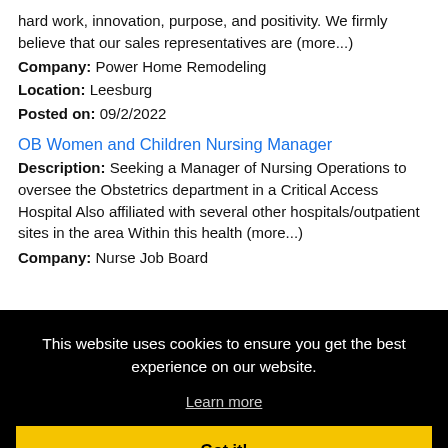hard work, innovation, purpose, and positivity. We firmly believe that our sales representatives are (more...)
Company: Power Home Remodeling
Location: Leesburg
Posted on: 09/2/2022
OB Women and Children Nursing Manager
Description: Seeking a Manager of Nursing Operations to oversee the Obstetrics department in a Critical Access Hospital Also affiliated with several other hospitals/outpatient sites in the area Within this health (more...)
Company: Nurse Job Board
[Figure (screenshot): Cookie consent banner overlay with black background. Text reads: 'This website uses cookies to ensure you get the best experience on our website.' with a 'Learn more' link and a yellow 'Got it!' button.]
Posted on: 09/2/2022